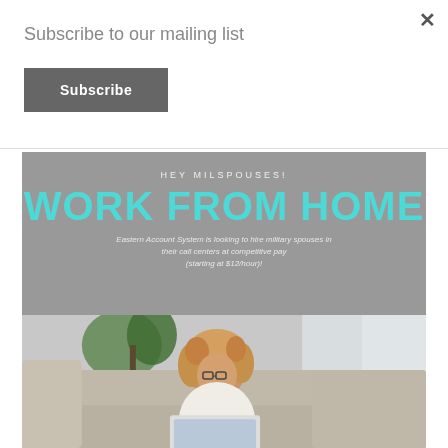Subscribe to our mailing list
Subscribe
×
[Figure (infographic): Advertisement banner for Eastern Account System targeting military spouses, with text 'HEY MILSPOUSES!', 'WORK FROM HOME' in large teal letters, and description 'Eastern Account System is looking to hire military spouses in their call centers at competitive pay (starting at $12/hour)!', below which is a photo of a woman with curly hair working on a laptop on a couch.]